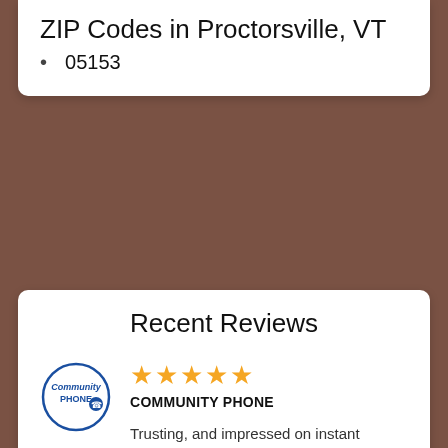ZIP Codes in Proctorsville, VT
05153
Recent Reviews
[Figure (logo): Community Phone circular logo with blue text and border]
★★★★★
COMMUNITY PHONE
Trusting, and impressed on instant answers through email. Very helpful and most of all polite and patient. Finally got a landline for back up incase...